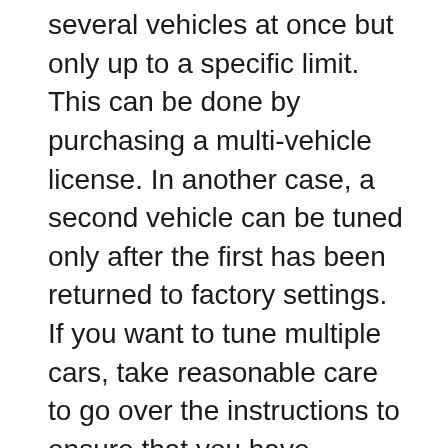several vehicles at once but only up to a specific limit. This can be done by purchasing a multi-vehicle license. In another case, a second vehicle can be tuned only after the first has been returned to factory settings. If you want to tune multiple cars, take reasonable care to go over the instructions to ensure that you have selected a tuner suited for that job.
Which is better – pre-loaded tunes or custom tuning?
There are pros and cons to each option. If you are a beginner who does not have much experience or knowledge about automotive adjustments, you should prefer sticking with